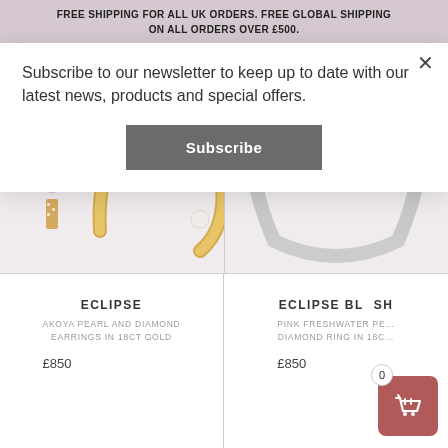FREE SHIPPING FOR ALL UK ORDERS. FREE GLOBAL SHIPPING ON ALL ORDERS OVER £500.
Subscribe to our newsletter to keep up to date with our latest news, products and special offers.
Subscribe
[Figure (photo): Close-up of gold hoop earrings with Akoya pearls and diamonds on a light background]
[Figure (photo): Close-up of a silver ring with a pink freshwater pearl on a light background]
ECLIPSE
AKOYA PEARL AND DIAMOND EARRINGS IN 18CT GOLD
£850
ECLIPSE BLUSH
PINK FRESHWATER PEARL AND DIAMOND RING IN 18CT
£850